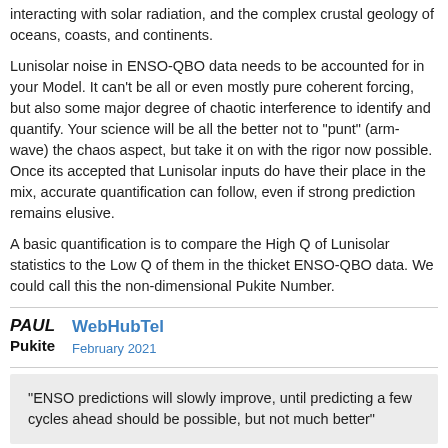interacting with solar radiation, and the complex crustal geology of oceans, coasts, and continents.
Lunisolar noise in ENSO-QBO data needs to be accounted for in your Model. It can't be all or even mostly pure coherent forcing, but also some major degree of chaotic interference to identify and quantify. Your science will be all the better not to "punt" (arm-wave) the chaos aspect, but take it on with the rigor now possible. Once its accepted that Lunisolar inputs do have their place in the mix, accurate quantification can follow, even if strong prediction remains elusive.
A basic quantification is to compare the High Q of Lunisolar statistics to the Low Q of them in the thicket ENSO-QBO data. We could call this the non-dimensional Pukite Number.
WebHubTel
February 2021
"ENSO predictions will slowly improve, until predicting a few cycles ahead should be possible, but not much better"
It's not about the predictions, but about the physics. No one makes any progress in science by throwing darts while blindfolded. There are many kinds of analyses one can do without relying on predictions as the only